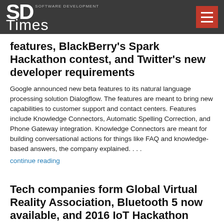SD Times — Software Development
features, BlackBerry's Spark Hackathon contest, and Twitter's new developer requirements
Google announced new beta features to its natural language processing solution Dialogflow. The features are meant to bring new capabilities to customer support and contact centers. Features include Knowledge Connectors, Automatic Spelling Correction, and Phone Gateway integration. Knowledge Connectors are meant for building conversational actions for things like FAQ and knowledge-based answers, the company explained. . . .
continue reading
Tech companies form Global Virtual Reality Association, Bluetooth 5 now available, and 2016 IoT Hackathon winners announced—SD Times news digest: Dec. 8, 2016
Some top technology companies are teaming up in order to expand virtual reality's reach. Acer/Starbreeze, Facebook Google, HTC, Samsung and Sony have formed the Global Virtual Reality Association (GVRA). Together, they will